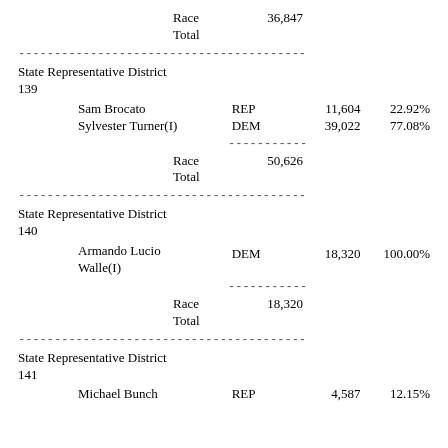| Name | Party | Votes | Pct |
| --- | --- | --- | --- |
|  | Race Total | 36,847 |  |
| ---divider--- |  |  |  |
| State Representative District 139 |  |  |  |
| Sam Brocato | REP | 11,604 | 22.92% |
| Sylvester Turner(I) | DEM | 39,022 | 77.08% |
|  | Race Total | 50,626 |  |
| ---divider--- |  |  |  |
| State Representative District 140 |  |  |  |
| Armando Lucio Walle(I) | DEM | 18,320 | 100.00% |
|  | Race Total | 18,320 |  |
| ---divider--- |  |  |  |
| State Representative District 141 |  |  |  |
| Michael Bunch | REP | 4,587 | 12.15% |